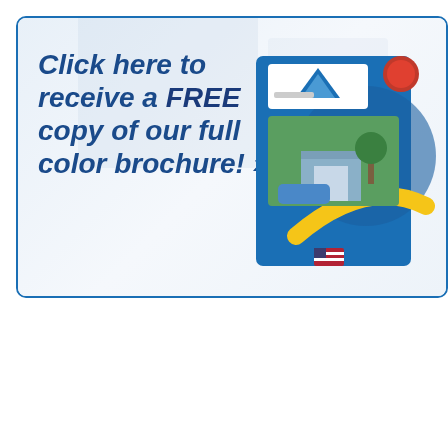[Figure (illustration): Promotional banner with blue border. Text reads: Click here to receive a FREE copy of our full color brochure! with a brochure image on the right showing a building/garage on the cover.]
[Figure (illustration): Bottom banner with a faded American flag on the left and text: Made in the USA / Thank You For Supporting / American Labor. A red phone button is in the bottom right corner.]